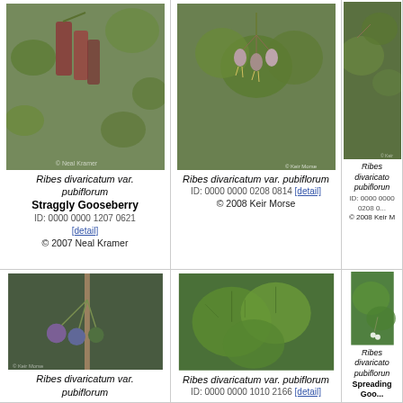[Figure (photo): Photo of Ribes divaricatum var. pubiflorum showing hanging red berries/flowers with green foliage]
Ribes divaricatum var. pubiflorum
Straggly Gooseberry
ID: 0000 0000 1207 0621 [detail]
© 2007 Neal Kramer
[Figure (photo): Photo of Ribes divaricatum var. pubiflorum showing pink-white hanging flowers]
Ribes divaricatum var. pubiflorum
ID: 0000 0000 0208 0814 [detail]
© 2008 Keir Morse
[Figure (photo): Partial photo of Ribes divaricatum var. pubiflorum with green leaves]
Ribes divaricatum var. pubiflorum
ID: 0000 0000 0208 0...
© 2008 Keir M
[Figure (photo): Photo of Ribes divaricatum var. pubiflorum showing purple-green berries hanging on branch]
Ribes divaricatum var. pubiflorum
[Figure (photo): Photo of Ribes divaricatum var. pubiflorum showing green lobed leaves]
Ribes divaricatum var. pubiflorum
ID: 0000 0000 1010 2166 [detail]
[Figure (photo): Partial photo of Ribes divaricatum var. pubiflorum with white flowers]
Ribes divaricatum var. pubiflorum
Spreading Goo...